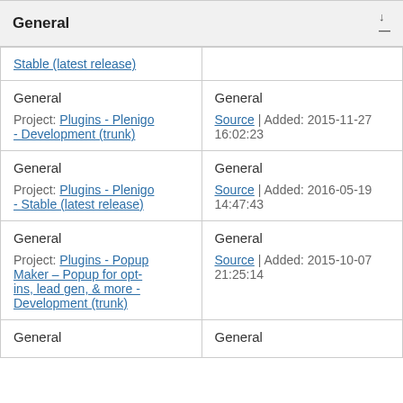General
| General
Project: Plugins - Plenigo - Stable (latest release) |  |
| General
Project: Plugins - Plenigo - Development (trunk) | General
Source | Added: 2015-11-27 16:02:23 |
| General
Project: Plugins - Plenigo - Stable (latest release) | General
Source | Added: 2016-05-19 14:47:43 |
| General
Project: Plugins - Popup Maker – Popup for opt-ins, lead gen, & more - Development (trunk) | General
Source | Added: 2015-10-07 21:25:14 |
| General | General |